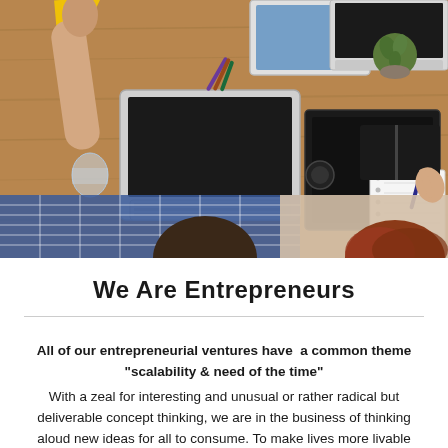[Figure (photo): Overhead/top-down view of entrepreneurs working at a wooden desk with laptops, tablets, notebooks, and office supplies. Two people visible from above in the lower portion — one in a plaid shirt, one with reddish hair.]
We Are Entrepreneurs
All of our entrepreneurial ventures have a common theme "scalability & need of the time" With a zeal for interesting and unusual or rather radical but deliverable concept thinking, we are in the business of thinking aloud new ideas for all to consume. To make lives more livable